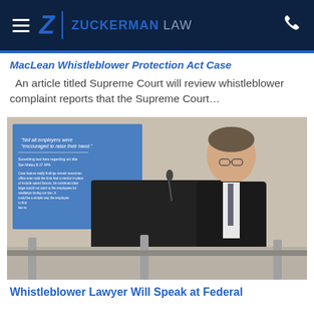Zuckerman Law
MacLean Whistleblower Protection Act Case
An article titled Supreme Court will review whistleblower complaint reports that the Supreme Court…
[Figure (photo): A man in a dark suit speaking at a podium with a blue presentation slide visible in the background]
Whistleblower Lawyer Will Speak at Federal